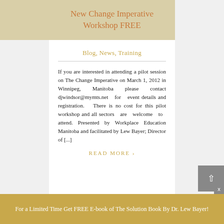New Change Imperative Workshop FREE
Blog, News, Training
If you are interested in attending a pilot session on The Change Imperative on March 1, 2012 in Winnipeg, Manitoba please contact djwindsor@mymts.net for event details and registration. There is no cost for this pilot workshop and all sectors are welcome to attend. Presented by Workplace Education Manitoba and facilitated by Lew Bayer; Director of [...]
READ MORE ›
For a Limited Time Get FREE E-book of The Solution Book By Dr. Lew Bayer!